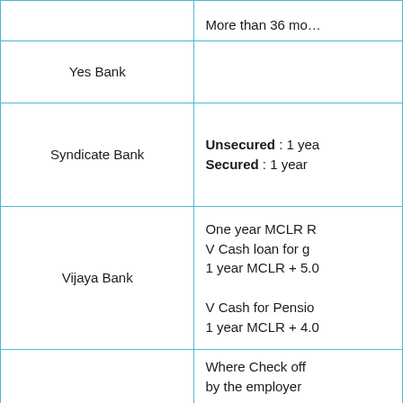| Bank | Details |
| --- | --- |
|  | More than 36 mo… |
| Yes Bank |  |
| Syndicate Bank | Unsecured : 1 year…
Secured : 1 year… |
| Vijaya Bank | One year MCLR R…
V Cash loan for g…
1 year MCLR + 5.0…
V Cash for Pensio…
1 year MCLR + 4.0… |
| Indian Bank | Where Check off…
by the employer…
Where Check off…
By the employer…
Credited with the… |